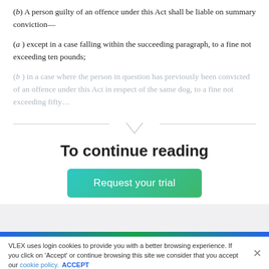(b) A person guilty of an offence under this Act shall be liable on summary conviction—
(a) except in a case falling within the succeeding paragraph, to a fine not exceeding ten pounds;
(b) in a case where the person in question has previously been convicted of an offence under this Act in respect of the same dog, to a fine not exceeding fifty...
To continue reading
[Figure (other): A teal-to-green gradient button labeled 'Request your trial']
VLEX uses login cookies to provide you with a better browsing experience. If you click on 'Accept' or continue browsing this site we consider that you accept our cookie policy. ACCEPT